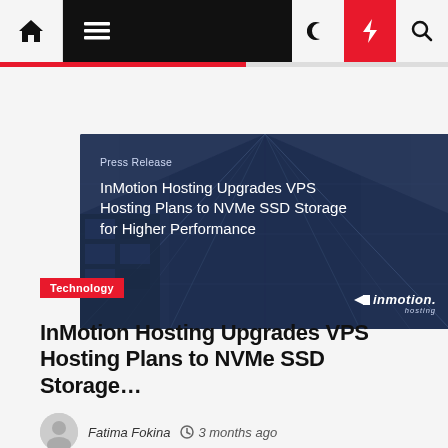Navigation bar with home, menu, moon, lightning, and search icons
[Figure (photo): InMotion Hosting press release hero image with dark blue building/skyscraper background. Text overlay says 'Press Release' and 'InMotion Hosting Upgrades VPS Hosting Plans to NVMe SSD Storage for Higher Performance'. InMotion Hosting logo in bottom right corner.]
Technology
InMotion Hosting Upgrades VPS Hosting Plans to NVMe SSD Storage…
Fatima Fokina  3 months ago